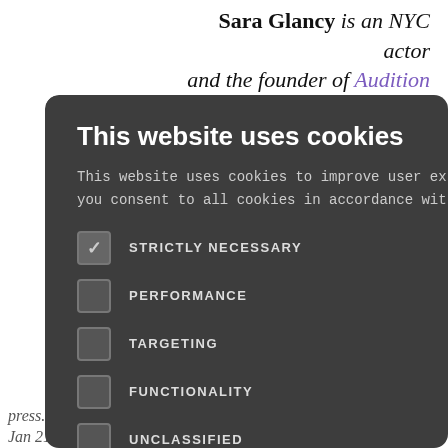Sara Glancy is an NYC actor and the founder of Audition Rep [link] ice that helps ne audition ook them
r audition
[Figure (screenshot): Cookie consent modal dialog with dark background. Title: 'This website uses cookies'. Body text: 'This website uses cookies to improve user experience. By using our website you consent to all cookies in accordance with our Cookie Policy. Read more'. Checkboxes: STRICTLY NECESSARY (checked), PERFORMANCE (unchecked), TARGETING (unchecked), FUNCTIONALITY (unchecked), UNCLASSIFIED (unchecked). Two buttons: ACCEPT ALL (green), DECLINE ALL (outline). Show Details link at bottom with gear icon.]
copy of maker's book
press.com on Jan 21st 2018. Updated for onstageblog.com on